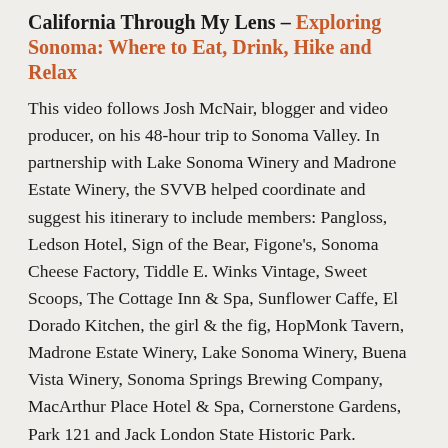California Through My Lens – Exploring Sonoma: Where to Eat, Drink, Hike and Relax
This video follows Josh McNair, blogger and video producer, on his 48-hour trip to Sonoma Valley. In partnership with Lake Sonoma Winery and Madrone Estate Winery, the SVVB helped coordinate and suggest his itinerary to include members: Pangloss, Ledson Hotel, Sign of the Bear, Figone's, Sonoma Cheese Factory, Tiddle E. Winks Vintage, Sweet Scoops, The Cottage Inn & Spa, Sunflower Caffe, El Dorado Kitchen, the girl & the fig, HopMonk Tavern, Madrone Estate Winery, Lake Sonoma Winery, Buena Vista Winery, Sonoma Springs Brewing Company, MacArthur Place Hotel & Spa, Cornerstone Gardens, Park 121 and Jack London State Historic Park.
"After spending 48 hours exploring Sonoma County,